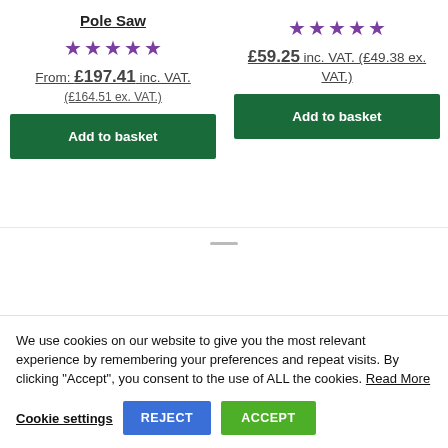Pole Saw
★★★★★ (5 stars)
From: £197.41 inc. VAT. (£164.51 ex. VAT.)
Add to basket
★★★★★ (5 stars)
£59.25 inc. VAT. (£49.38 ex. VAT.)
Add to basket
We use cookies on our website to give you the most relevant experience by remembering your preferences and repeat visits. By clicking "Accept", you consent to the use of ALL the cookies. Read More
Cookie settings  REJECT  ACCEPT